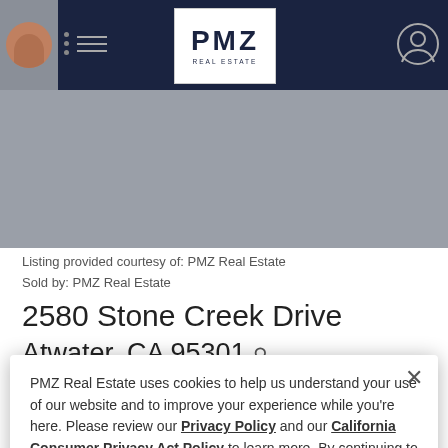PMZ REAL ESTATE
[Figure (screenshot): Gray banner/hero image area below the navigation bar]
Listing provided courtesy of: PMZ Real Estate
Sold by: PMZ Real Estate
2580 Stone Creek Drive
Atwater, CA 95301
3 Beds | 2 Baths | 1,923 sq. ft. | Single-Family | MLS# 222053983
PMZ Real Estate uses cookies to help us understand your use of our website and to improve your experience while you're here. Please review our Privacy Policy and our California Consumer Privacy Act Policy to learn more. By continuing to use our site, you accept our use of cookies and the other terms set forth in these policies, as well as our Terms of Use.